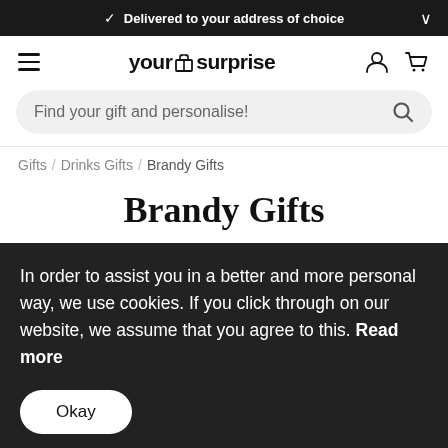✓ Delivered to your address of choice
[Figure (logo): YourSurprise logo with hamburger menu and navigation icons (user, cart)]
Find your gift and personalise!
Gifts / Drinks Gifts / Brandy Gifts
Brandy Gifts
In order to assist you in a better and more personal way, we use cookies. If you click through on our website, we assume that you agree to this. Read more
Okay